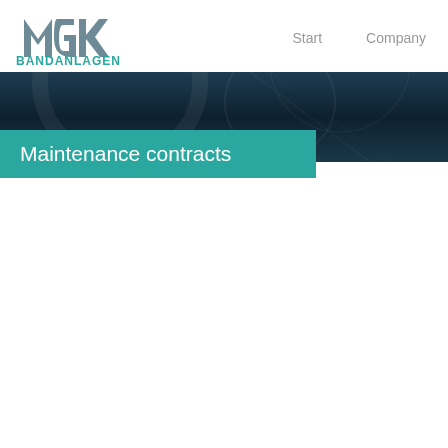[Figure (logo): MGK Bandanlagen company logo with teal MGK letters and teal BANDANLAGEN text below]
Start    Company
[Figure (photo): Dark navy blue industrial banner background with subtle circular pattern overlays]
Maintenance contracts